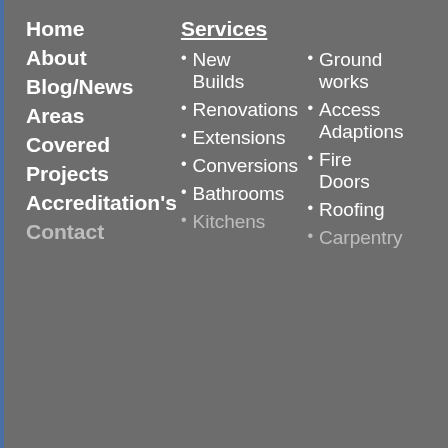Home
About
Blog/News
Areas
Covered
Projects
Accreditation's
Contact
Services
New Builds
Renovations
Extensions
Conversions
Bathrooms
Kitchens
Ground works
Access Adaptions
Fire Doors
Roofing
Carpentry
Our site uses cookies. For more information, see our cookie policy.
Accept cookies and close
Reject cookies
Manage settings